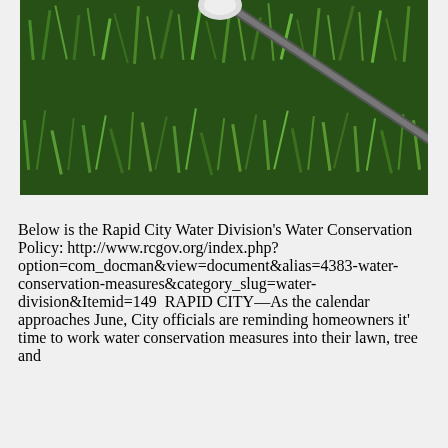[Figure (photo): Close-up photo of green grass with a garden hose or pipe lying across it, viewed from above.]
Below is the Rapid City Water Division's Water Conservation Policy: http://www.rcgov.org/index.php?option=com_docman&view=document&alias=4383-water-conservation-measures&category_slug=water-division&Itemid=149  RAPID CITY—As the calendar approaches June, City officials are reminding homeowners it' time to work water conservation measures into their lawn, tree and